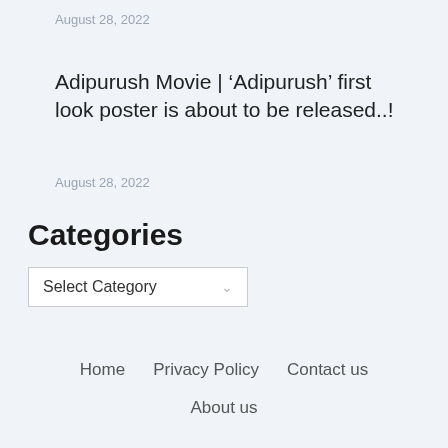August 28, 2022
Adipurush Movie | ‘Adipurush’ first look poster is about to be released..!
August 28, 2022
Categories
Select Category
Home   Privacy Policy   Contact us   About us